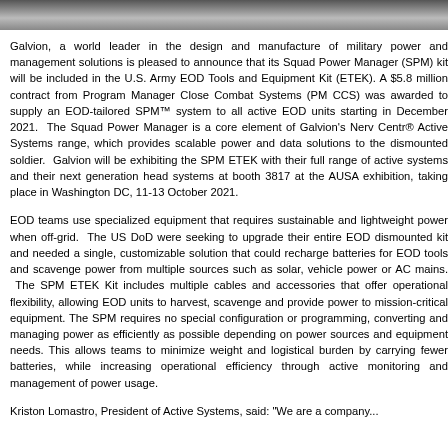[Figure (photo): Top portion of a photograph showing military/EOD-related equipment or personnel, partially cropped at top of page]
Galvion, a world leader in the design and manufacture of military power and management solutions is pleased to announce that its Squad Power Manager (SPM) kit will be included in the U.S. Army EOD Tools and Equipment Kit (ETEK). A $5.8 million contract from Program Manager Close Combat Systems (PM CCS) was awarded to supply an EOD-tailored SPM™ system to all active EOD units starting in December 2021. The Squad Power Manager is a core element of Galvion's Nerv Centr® Active Systems range, which provides scalable power and data solutions to the dismounted soldier. Galvion will be exhibiting the SPM ETEK with their full range of active systems and their next generation head systems at booth 3817 at the AUSA exhibition, taking place in Washington DC, 11-13 October 2021.
EOD teams use specialized equipment that requires sustainable and lightweight power when off-grid. The US DoD were seeking to upgrade their entire EOD dismounted kit and needed a single, customizable solution that could recharge batteries for EOD tools and scavenge power from multiple sources such as solar, vehicle power or AC mains. The SPM ETEK Kit includes multiple cables and accessories that offer operational flexibility, allowing EOD units to harvest, scavenge and provide power to mission-critical equipment. The SPM requires no special configuration or programming, converting and managing power as efficiently as possible depending on power sources and equipment needs. This allows teams to minimize weight and logistical burden by carrying fewer batteries, while increasing operational efficiency through active monitoring and management of power usage.
Kriston Lomastro, President of Active Systems, said: "We are a company...